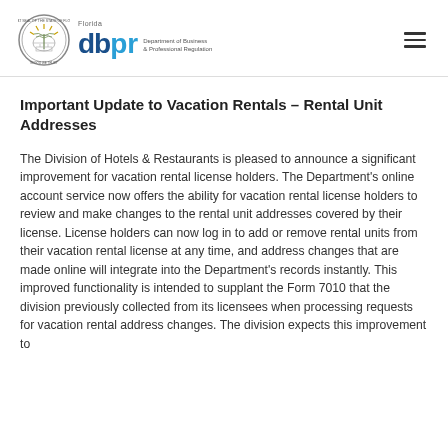Florida DBPR - Department of Business & Professional Regulation
Important Update to Vacation Rentals – Rental Unit Addresses
The Division of Hotels & Restaurants is pleased to announce a significant improvement for vacation rental license holders. The Department's online account service now offers the ability for vacation rental license holders to review and make changes to the rental unit addresses covered by their license. License holders can now log in to add or remove rental units from their vacation rental license at any time, and address changes that are made online will integrate into the Department's records instantly. This improved functionality is intended to supplant the Form 7010 that the division previously collected from its licensees when processing requests for vacation rental address changes. The division expects this improvement to